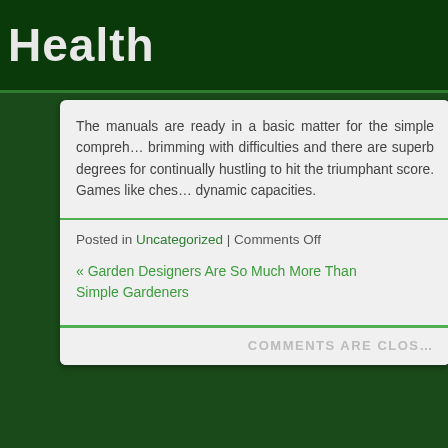Health
The manuals are ready in a basic matter for the simple comprehension brimming with difficulties and there are superb degrees for continually hustling to hit the triumphant score. Games like chess dynamic capacities.
Posted in Uncategorized | Comments Off
« Garden Designers Are So Much More Than Simple Gardeners
COMMENTS ARE CLOSED